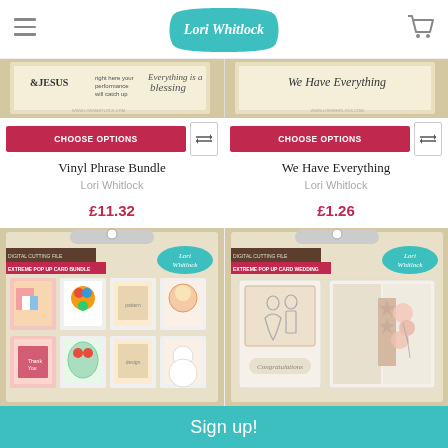Lori Whitlock
[Figure (screenshot): Vinyl Phrase Bundle product thumbnail showing kraft paper packaging with vinyl phrases including &JESUS and blessing text]
CHOOSE OPTIONS
Vinyl Phrase Bundle
Lori Whitlock
£11.32
[Figure (screenshot): We Have Everything product thumbnail showing kraft paper packaging]
CHOOSE OPTIONS
We Have Everything
Lori Whitlock
£1.26
[Figure (screenshot): Extreme Pop Up Card Bundle digital cutting file packaging showing 8 colorful pop-up cards including birthday gifts, balloons, flowers and snowman designs]
[Figure (screenshot): Extreme Pop Up Card Wedding digital cutting file packaging showing wedding themed pop-up cards with bride and groom illustration]
Sign up!